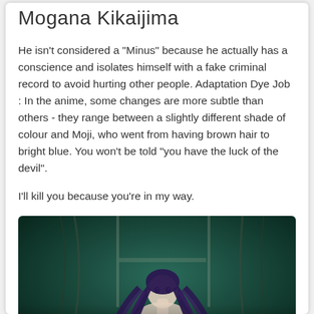Mogana Kikaijima
He isn't considered a "Minus" because he actually has a conscience and isolates himself with a fake criminal record to avoid hurting other people. Adaptation Dye Job : In the anime, some changes are more subtle than others - they range between a slightly different shade of colour and Moji, who went from having brown hair to bright blue. You won't be told "you have the luck of the devil".
I'll kill you because you're in my way.
[Figure (photo): Anime screenshot of a female character with long dark purple hair against a dark teal background, with 'Register NOW' text overlay at the bottom.]